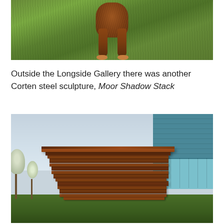[Figure (photo): Top portion of a photo showing an animal (likely a dog or similar) with reddish-brown fur, visible from legs/body down, standing on green grass]
Outside the Longside Gallery there was another Corten steel sculpture, Moor Shadow Stack
[Figure (photo): Outdoor photograph of a large Corten steel sculpture called Moor Shadow Stack — a tall stack of horizontal rusted steel plates arranged in a tower formation, situated on grass outside a blue industrial building, with bare trees visible on the left and overcast sky]